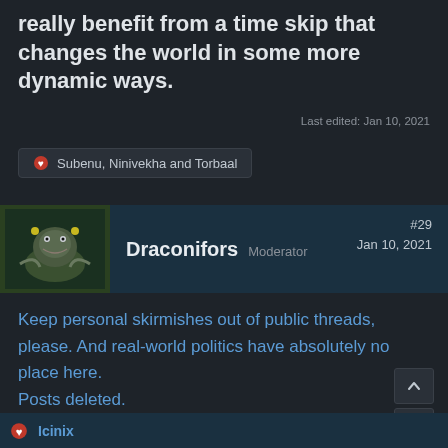really benefit from a time skip that changes the world in some more dynamic ways.
Last edited: Jan 10, 2021
Subenu, Ninivekha and Torbaal
Draconifors Moderator #29 Jan 10, 2021
Keep personal skirmishes out of public threads, please. And real-world politics have absolutely no place here.
Posts deleted.

(Added spoiler warning in thread title.)
Icinix